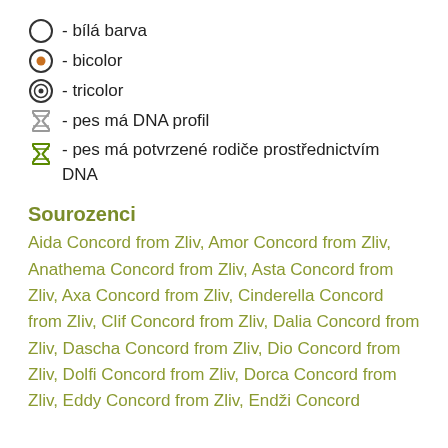○ - bílá barva
⊙ - bicolor
⊙ - tricolor
⧖ - pes má DNA profil
⧖ - pes má potvrzené rodiče prostřednictvím DNA
Sourozenci
Aida Concord from Zliv, Amor Concord from Zliv, Anathema Concord from Zliv, Asta Concord from Zliv, Axa Concord from Zliv, Cinderella Concord from Zliv, Clif Concord from Zliv, Dalia Concord from Zliv, Dascha Concord from Zliv, Dio Concord from Zliv, Dolfi Concord from Zliv, Dorca Concord from Zliv, Eddy Concord from Zliv, Endži Concord